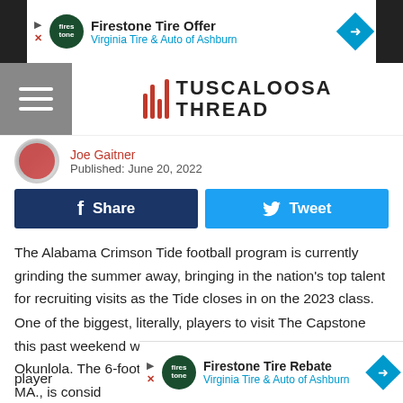[Figure (other): Firestone Tire Offer advertisement banner - Virginia Tire & Auto of Ashburn]
TUSCALOOSA THREAD
Joe Gaitner
Published: June 20, 2022
Share   Tweet
The Alabama Crimson Tide football program is currently grinding the summer away, bringing in the nation's top talent for recruiting visits as the Tide closes in on the 2023 class.
One of the biggest, literally, players to visit The Capstone this past weekend was 5-star offensive tackle Samson Okunlola. The 6-foot-5, 305 pound prospect out of Brockton, MA., is consid... overall player...
[Figure (other): Firestone Tire Rebate advertisement banner - Virginia Tire & Auto of Ashburn]